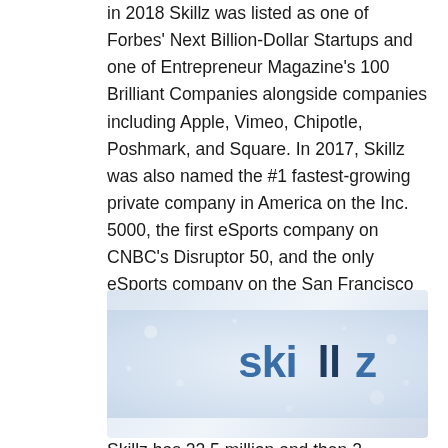in 2018 Skillz was listed as one of Forbes' Next Billion-Dollar Startups and one of Entrepreneur Magazine's 100 Brilliant Companies alongside companies including Apple, Vimeo, Chipotle, Poshmark, and Square. In 2017, Skillz was also named the #1 fastest-growing private company in America on the Inc. 5000, the first eSports company on CNBC's Disruptor 50, and the only eSports company on the San Francisco Business Times Fast 100.
[Figure (logo): Skillz company logo on a light blue-grey gradient background with subtle bokeh light effects. The word 'skillz' is rendered in a bold sans-serif font with dark blue and medium blue coloring.]
Skillz has 22.5 million and then 2...